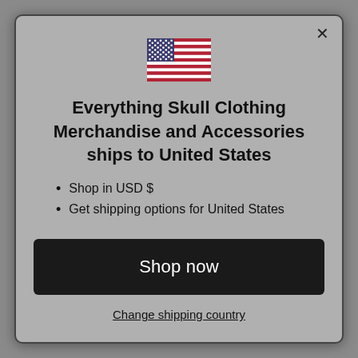[Figure (illustration): US flag emoji / icon displayed at top center of modal dialog]
Everything Skull Clothing Merchandise and Accessories ships to United States
Shop in USD $
Get shipping options for United States
Shop now
Change shipping country